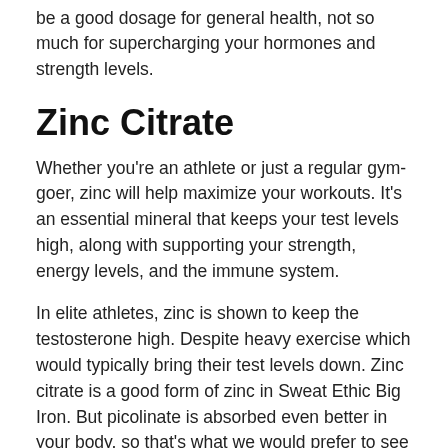be a good dosage for general health, not so much for supercharging your hormones and strength levels.
Zinc Citrate
Whether you're an athlete or just a regular gym-goer, zinc will help maximize your workouts. It's an essential mineral that keeps your test levels high, along with supporting your strength, energy levels, and the immune system.
In elite athletes, zinc is shown to keep the testosterone high. Despite heavy exercise which would typically bring their test levels down. Zinc citrate is a good form of zinc in Sweat Ethic Big Iron. But picolinate is absorbed even better in your body, so that's what we would prefer to see here. (4)
The problem with zinc here is its high dosage. At 35mg, it might give you severe stomach pains, especially if taken on an empty stomach. Taking too much zinc long-term can lead to copper deficiency, which affects your immune system, hair color, and